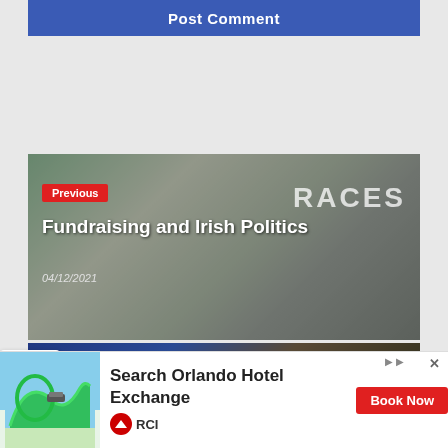Post Comment
[Figure (photo): Previous post card: man speaking outdoors near a RACES sign, with Irish flags, overlaid with title and date]
Previous
Fundraising and Irish Politics
04/12/2021
[Figure (photo): Next post card: crowd with blue and gold flags and banners, overlaid with title and date]
Next
Action Française: History and Practice
2/2021
[Figure (photo): Advertisement banner: roller coaster image with Search Orlando Hotel Exchange text and Book Now button, RCI logo]